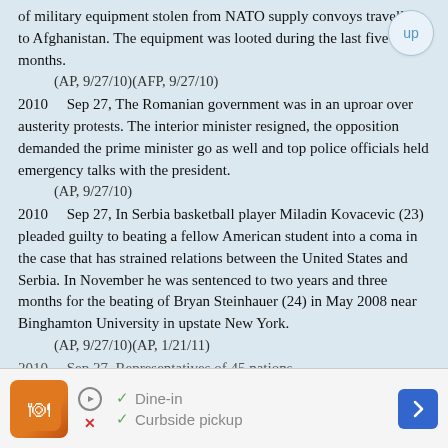of military equipment stolen from NATO supply convoys travelling to Afghanistan. The equipment was looted during the last five to six months.
(AP, 9/27/10)(AFP, 9/27/10)
2010 Sep 27, The Romanian government was in an uproar over austerity protests. The interior minister resigned, the opposition demanded the prime minister go as well and top police officials held emergency talks with the president.
(AP, 9/27/10)
2010 Sep 27, In Serbia basketball player Miladin Kovacevic (23) pleaded guilty to beating a fellow American student into a coma in the case that has strained relations between the United States and Serbia. In November he was sentenced to two years and three months for the beating of Bryan Steinhauer (24) in May 2008 near Binghamton University in upstate New York.
(AP, 9/27/10)(AP, 1/21/11)
2010 Sep 27, Representatives of 45 nations
[Figure (other): Advertisement banner showing a restaurant logo, dine-in and curbside pickup options, navigation arrow icon, play button, and close button.]